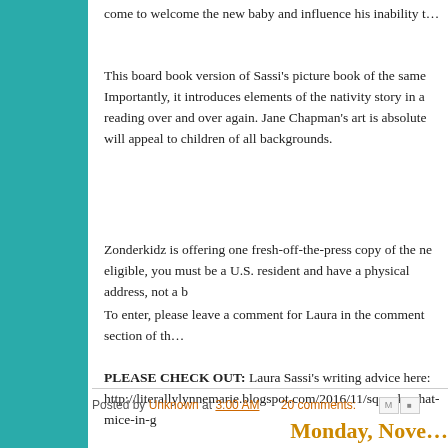come to welcome the new baby and influence his inability to…
This board book version of Sassi's picture book of the same… Importantly, it introduces elements of the nativity story in a… reading over and over again. Jane Chapman's art is absolute… will appeal to children of all backgrounds.
Zonderkidz is offering one fresh-off-the-press copy of the ne… eligible, you must be a U.S. resident and have a physical address, not a b…
To enter, please leave a comment for Laura in the comment section of th…
PLEASE CHECK OUT: Laura Sassi's writing advice here:
http://literallylynnemarie.blogspot.com/2016/11/squeak-what-mice-in-g
Posted by Unknown at 3:00 AM   20 comments:
Monday, Nove…